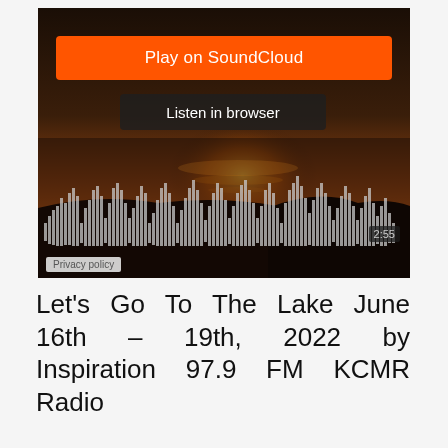[Figure (screenshot): SoundCloud embedded player showing a sunset/lake background image with an orange 'Play on SoundCloud' button, a dark 'Listen in browser' button, an audio waveform visualization at the bottom with a duration badge '2:55', and a 'Privacy policy' label in the lower left.]
Let's Go To The Lake June 16th – 19th, 2022 by Inspiration 97.9 FM KCMR Radio